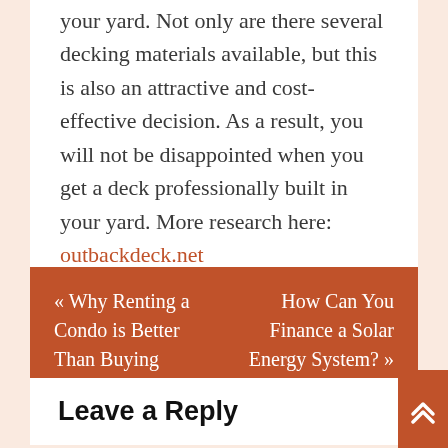your yard. Not only are there several decking materials available, but this is also an attractive and cost-effective decision. As a result, you will not be disappointed when you get a deck professionally built in your yard. More research here: outbackdeck.net
« Why Renting a Condo is Better Than Buying
How Can You Finance a Solar Energy System? »
Leave a Reply